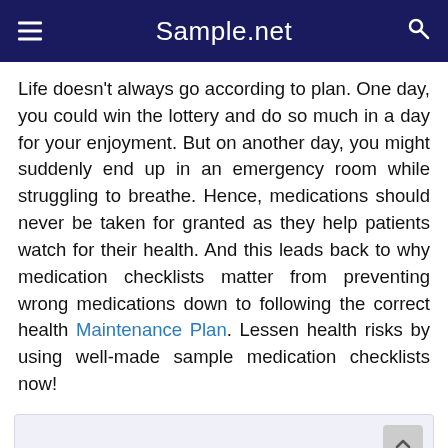Sample.net
Life doesn't always go according to plan. One day, you could win the lottery and do so much in a day for your enjoyment. But on another day, you might suddenly end up in an emergency room while struggling to breathe. Hence, medications should never be taken for granted as they help patients watch for their health. And this leads back to why medication checklists matter from preventing wrong medications down to following the correct health Maintenance Plan. Lessen health risks by using well-made sample medication checklists now!
Share This Post on Your Network